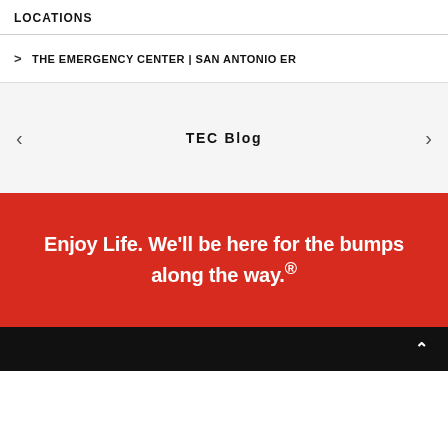LOCATIONS
> THE EMERGENCY CENTER | SAN ANTONIO ER
TEC Blog
Enjoy Life. We'll be here for the bumps along the way.®
^